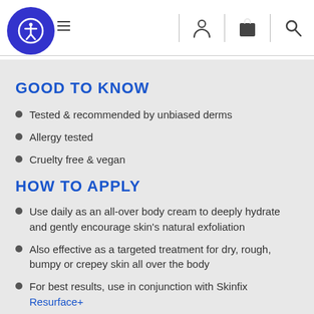Navigation bar with accessibility button, hamburger menu, user icon, cart icon, search icon
GOOD TO KNOW
Tested & recommended by unbiased derms
Allergy tested
Cruelty free & vegan
HOW TO APPLY
Use daily as an all-over body cream to deeply hydrate and gently encourage skin's natural exfoliation
Also effective as a targeted treatment for dry, rough, bumpy or crepey skin all over the body
For best results, use in conjunction with Skinfix Resurface+